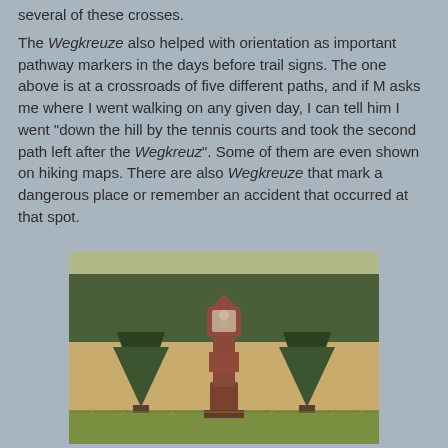several of these crosses.
The Wegkreuze also helped with orientation as important pathway markers in the days before trail signs. The one above is at a crossroads of five different paths, and if M asks me where I went walking on any given day, I can tell him I went "down the hill by the tennis courts and took the second path left after the Wegkreuz". Some of them are even shown on hiking maps. There are also Wegkreuze that mark a dangerous place or remember an accident that occurred at that spot.
[Figure (photo): A stone Wegkreuz (wayside cross/shrine) in a red-brown stone, flanked by two conical evergreen shrubs, standing in an open field with trees in the background.]